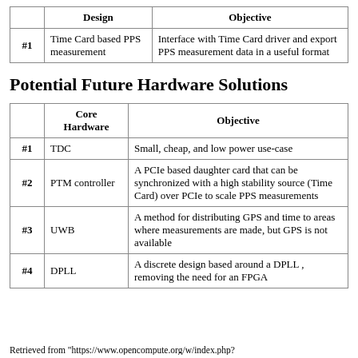|  | Design | Objective |
| --- | --- | --- |
| #1 | Time Card based PPS measurement | Interface with Time Card driver and export PPS measurement data in a useful format |
Potential Future Hardware Solutions
|  | Core Hardware | Objective |
| --- | --- | --- |
| #1 | TDC | Small, cheap, and low power use-case |
| #2 | PTM controller | A PCIe based daughter card that can be synchronized with a high stability source (Time Card) over PCIe to scale PPS measurements |
| #3 | UWB | A method for distributing GPS and time to areas where measurements are made, but GPS is not available |
| #4 | DPLL | A discrete design based around a DPLL , removing the need for an FPGA |
Retrieved from "https://www.opencompute.org/w/index.php?